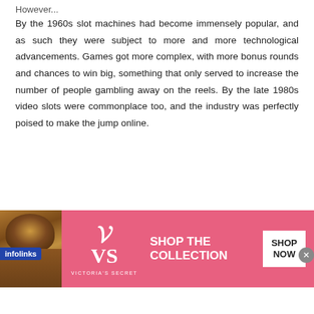However...
By the 1960s slot machines had become immensely popular, and as such they were subject to more and more technological advancements. Games got more complex, with more bonus rounds and chances to win big, something that only served to increase the number of people gambling away on the reels. By the late 1980s video slots were commonplace too, and the industry was perfectly poised to make the jump online.
Rise Of The Internet
Obviously, as soon as the first video slots were made it became apparent that online slots would be a thing in the not
[Figure (advertisement): Victoria's Secret advertisement banner with pink background, model photo on left, VS logo in center, 'SHOP THE COLLECTION' text and 'SHOP NOW' button on right]